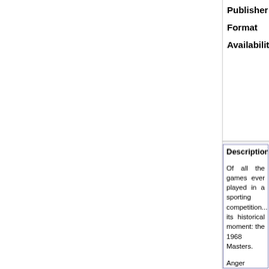| Field | Value |
| --- | --- |
| Publisher | Simon & Sc... |
| Format | Hardback |
| Availability | Usually desp... Books occa... |
Description
Of all the games ever played in a sporting competition... its historical moment: the 1968 Masters.

Anger gripped America's heart in April 1968. Vietna... between races and generations, while protests and v... life of Dr. Martin Luther King, Jr. Cities burned.

The smoke had barely cleared when the Masters bega...

Never was the country more ready for distraction a... Palmer versus Nicklaus provide it? For a while, it co... superstars, several unlikely members of the chorus s... was blunt-talking Bob Goalby, a truck driver's son fro... Devicenzo from Argentina, who charmed the gallerie... dropped out of West Point to face his private demons...

Just as the competition reached a thrilling crescend... the world, devolved into a heart-wrenching tangle... narrative that stops in Augusta, Buenos Aires, and B... truth behind The Lost Masters.

It's a story you'll never forget - in the end Palmer, N... unknowns: Bert Yancey, Bob Goalby, and Argentineа... playing partner recorded that he'd made the hole in fo... the card in error, and was not allowed to correct his... shot. DeVicenzo sobbed on hearing the news, and ... access to all the key players (including DeVicena... aftermath of that astonishing tournament. In recounti... a light upon the continuing controversy of the Augu... American life.